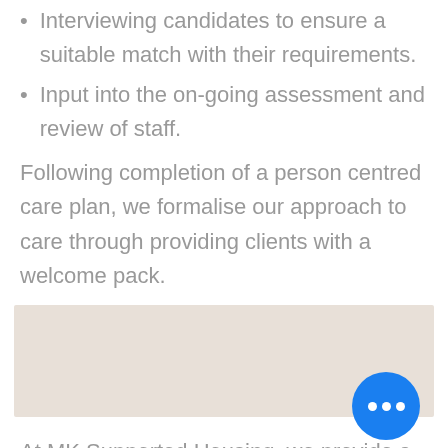Interviewing candidates to ensure a suitable match with their requirements.
Input into the on-going assessment and review of staff.
Following completion of a person centred care plan, we formalise our approach to care through providing clients with a welcome pack.
[Figure (other): A beige/tan colored rectangular box, likely a placeholder for an image.]
At MK Supported Housing, we provide a residential a care package which is tailored to meet the needs of each